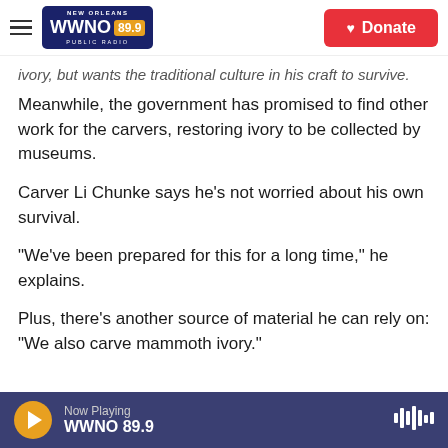WWNO 89.9 New Orleans Public Radio — Donate
ivory, but wants the traditional culture in his craft to survive.
Meanwhile, the government has promised to find other work for the carvers, restoring ivory to be collected by museums.
Carver Li Chunke says he's not worried about his own survival.
"We've been prepared for this for a long time," he explains.
Plus, there's another source of material he can rely on: "We also carve mammoth ivory."
Now Playing WWNO 89.9